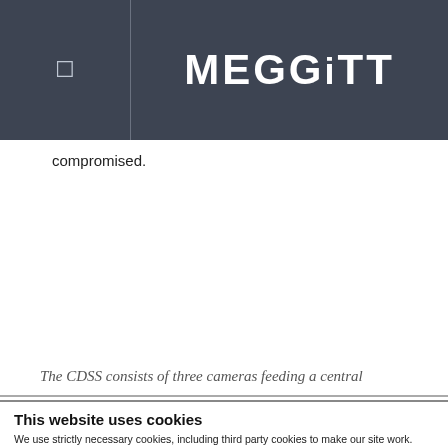MEGGITT
compromised.
The CDSS consists of three cameras feeding a central
This website uses cookies
We use strictly necessary cookies, including third party cookies to make our site work. We'd also like to set preferences, analytics and marketing cookies, including third party cookies, to analyse our traffic and provide social media features, which will only be set if you tick the box to accept. Please click on the Cookies page if you would like to know more about the cookies we use. To view or manage your consents click on "Change your consent" and to withdraw your consent click on "Withdraw your consent".
OK
Necessary  Preferences  Statistics  Marketing  Show details